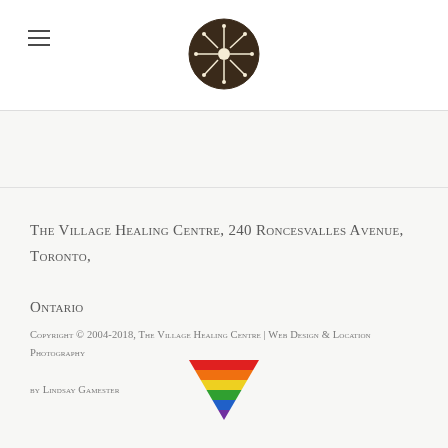The Village Healing Centre — Logo and navigation
The Village Healing Centre, 240 Roncesvalles Avenue, Toronto, Ontario
Copyright © 2004-2018, The Village Healing Centre | Web Design & Location Photography by Lindsay Gamester
[Figure (logo): Rainbow pride triangle symbol (inverted triangle with horizontal stripes in red, orange, yellow, green, blue, violet)]